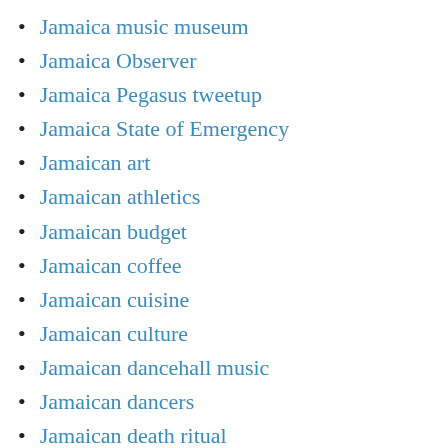Jamaica music museum
Jamaica Observer
Jamaica Pegasus tweetup
Jamaica State of Emergency
Jamaican art
Jamaican athletics
Jamaican budget
Jamaican coffee
Jamaican cuisine
Jamaican culture
Jamaican dancehall music
Jamaican dancers
Jamaican death ritual
Jamaican DJs
Jamaican election
Jamaican film